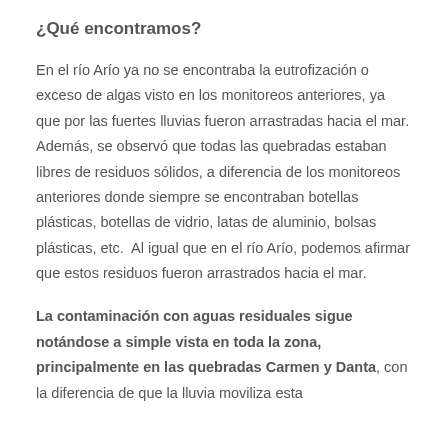¿Qué encontramos?
En el río Arío ya no se encontraba la eutrofización o exceso de algas visto en los monitoreos anteriores, ya que por las fuertes lluvias fueron arrastradas hacia el mar. Además, se observó que todas las quebradas estaban libres de residuos sólidos, a diferencia de los monitoreos anteriores donde siempre se encontraban botellas plásticas, botellas de vidrio, latas de aluminio, bolsas plásticas, etc.  Al igual que en el río Arío, podemos afirmar que estos residuos fueron arrastrados hacia el mar.
La contaminación con aguas residuales sigue notándose a simple vista en toda la zona, principalmente en las quebradas Carmen y Danta, con la diferencia de que la lluvia moviliza esta